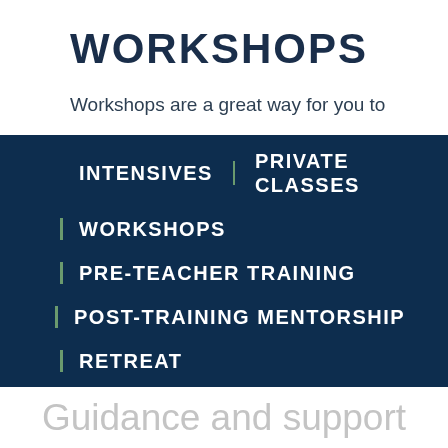WORKSHOPS
Workshops are a great way for you to
INTENSIVES | PRIVATE CLASSES
| WORKSHOPS
| PRE-TEACHER TRAINING
| POST-TRAINING MENTORSHIP
| RETREAT
Guidance and support for teacher training candidates and new teachers